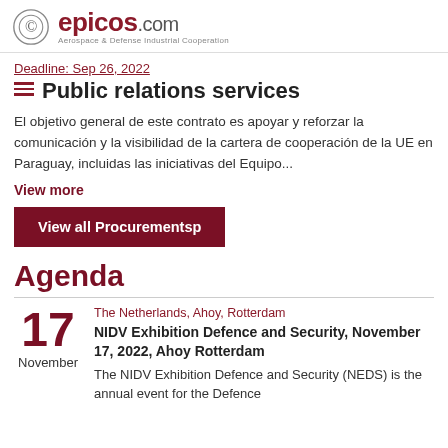epicos.com — Aerospace & Defense Industrial Cooperation
Deadline: Sep 26, 2022
Public relations services
El objetivo general de este contrato es apoyar y reforzar la comunicación y la visibilidad de la cartera de cooperación de la UE en Paraguay, incluidas las iniciativas del Equipo...
View more
View all Procurementsp
Agenda
The Netherlands, Ahoy, Rotterdam
NIDV Exhibition Defence and Security, November 17, 2022, Ahoy Rotterdam
The NIDV Exhibition Defence and Security (NEDS) is the annual event for the Defence